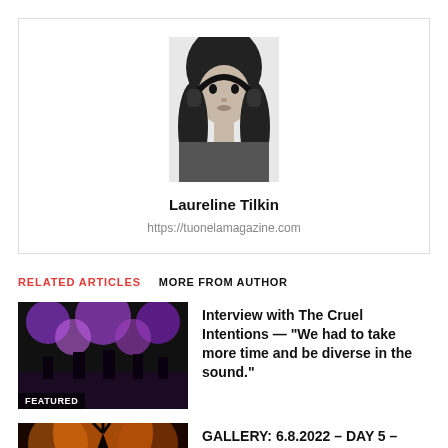[Figure (photo): Black and white portrait photo of a young woman with dark hair and headphones]
Laureline Tilkin
https://tuonelamagazine.com
RELATED ARTICLES   MORE FROM AUTHOR
[Figure (photo): Concert photo with purple stage lighting and band performing, FEATURED badge]
Interview with The Cruel Intentions — "We had to take more time and be diverse in the sound."
[Figure (photo): Concert/festival photo with orange warm lighting]
GALLERY: 6.8.2022 – DAY 5 – Beyond